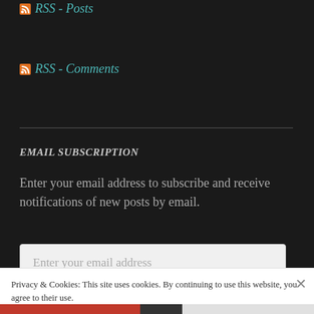RSS - Posts
RSS - Comments
EMAIL SUBSCRIPTION
Enter your email address to subscribe and receive notifications of new posts by email.
Enter your email address
Privacy & Cookies: This site uses cookies. By continuing to use this website, you agree to their use.
To find out more, including how to control cookies, see here: Cookie Policy
Close and accept